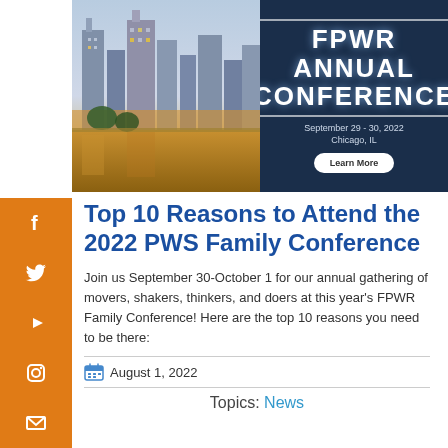[Figure (photo): FPWR Annual Conference banner with Chicago skyline photo on left, dark blue panel with conference title 'FPWR Annual Conference', date September 29-30 2022, Chicago IL, and Learn More button on right]
Top 10 Reasons to Attend the 2022 PWS Family Conference
[Figure (infographic): Orange social media sidebar icons: Facebook, Twitter, YouTube, Instagram, Email]
Join us September 30-October 1 for our annual gathering of movers, shakers, thinkers, and doers at this year's FPWR Family Conference!  Here are the top 10 reasons you need to be there:
August 1, 2022
Topics: News